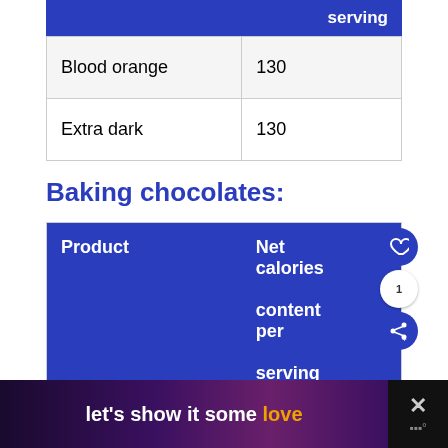|  | Net calories content per serving |
| --- | --- |
| Blood orange | 130 |
| Extra dark | 130 |
Baking chocolates:
| Product | Net calories content per serving |
| --- | --- |